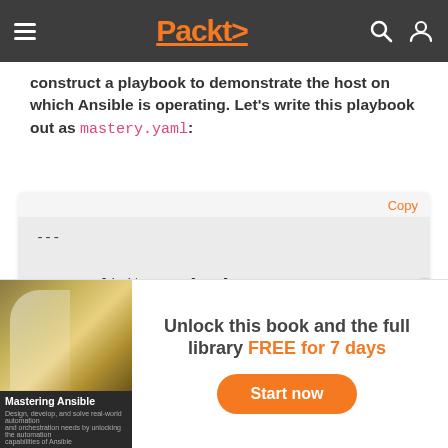Packt>
construct a playbook to demonstrate the host on which Ansible is operating. Let's write this playbook out as mastery.yaml:
[Figure (screenshot): Promotional banner: book cover for 'Mastering Ansible' with text 'Unlock this book and the full library FREE for 7 days' and a 'Start now' button]